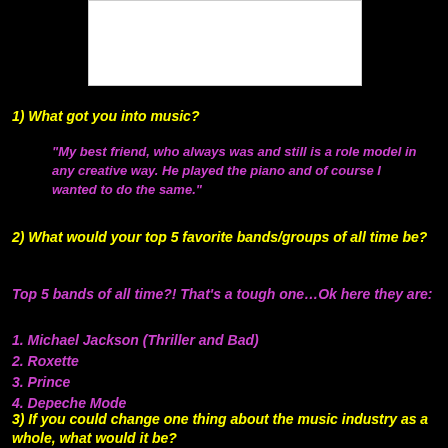[Figure (photo): White rectangular image placeholder at top center]
1) What got you into music?
"My best friend, who always was and still is a role model in any creative way. He played the piano and of course I wanted to do the same."
2) What would your top 5 favorite bands/groups of all time be?
Top 5 bands of all time?! That's a tough one…Ok here they are:
1. Michael Jackson (Thriller and Bad)
2. Roxette
3. Prince
4. Depeche Mode
5. Hurts
3) If you could change one thing about the music industry as a whole, what would it be?